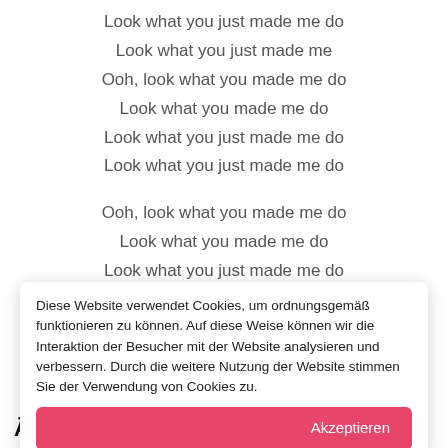Look what you just made me do
Look what you just made me
Ooh, look what you made me do
Look what you made me do
Look what you just made me do
Look what you just made me do

Ooh, look what you made me do
Look what you made me do
Look what you just made me do
Look what you just made me
Ooh, look what you just made me do
Diese Website verwendet Cookies, um ordnungsgemäß funktionieren zu können. Auf diese Weise können wir die Interaktion der Besucher mit der Website analysieren und verbessern. Durch die weitere Nutzung der Website stimmen Sie der Verwendung von Cookies zu.
Akzeptieren
Ähnliche Musiker